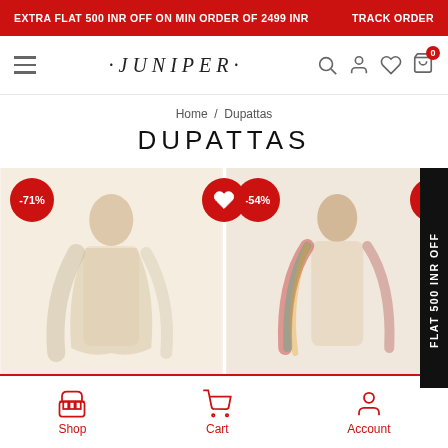EXTRA FLAT 500 INR OFF ON MIN ORDER OF 2499 INR   TRACK ORDER
[Figure (screenshot): Navigation bar with hamburger menu, Juniper logo, search, user, wishlist, and cart icons]
Home / Dupattas
DUPATTAS
[Figure (photo): Two product cards showing dupatta items with -71% and -54% discount badges and a heart/wishlist button]
Shop   Cart   Account